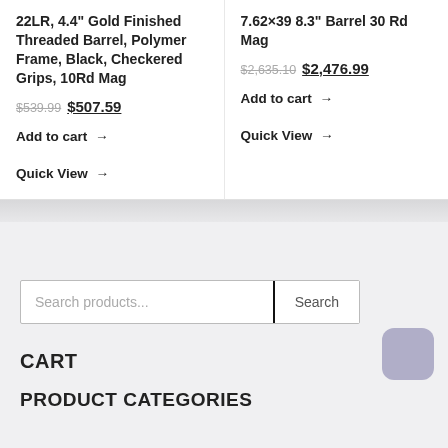22LR, 4.4" Gold Finished Threaded Barrel, Polymer Frame, Black, Checkered Grips, 10Rd Mag
$539.99 $507.59
Add to cart →
Quick View →
7.62×39 8.3" Barrel 30 Rd Mag
$2,635.10 $2,476.99
Add to cart →
Quick View →
Search products...
Search
CART
PRODUCT CATEGORIES